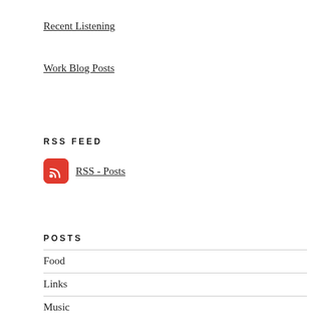Recent Listening
Work Blog Posts
RSS FEED
RSS - Posts
POSTS
Food
Links
Music